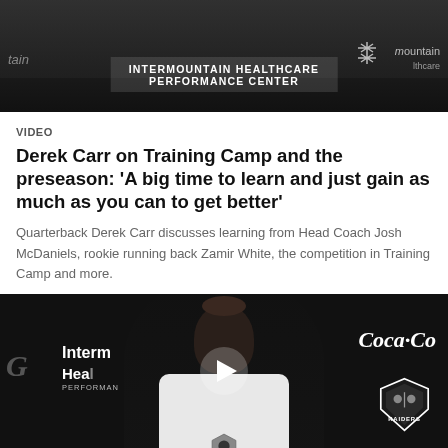[Figure (photo): Top photo showing NFL Raiders press conference backdrop with 'INTERMOUNTAIN HEALTHCARE PERFORMANCE CENTER' banner text, dark background with sponsor logos]
VIDEO
Derek Carr on Training Camp and the preseason: 'A big time to learn and just gain as much as you can to get better'
Quarterback Derek Carr discusses learning from Head Coach Josh McDaniels, rookie running back Zamir White, the competition in Training Camp and more.
[Figure (photo): Video thumbnail showing a man smiling at a Raiders press conference with Intermountain Healthcare and Coca-Cola sponsor backdrops, wearing a Raiders shirt, with a play button overlay]